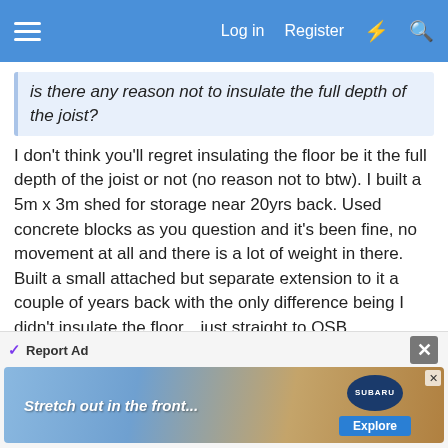Log in  Register
is there any reason not to insulate the full depth of the joist?
I don't think you'll regret insulating the floor be it the full depth of the joist or not (no reason not to btw). I built a 5m x 3m shed for storage near 20yrs back. Used concrete blocks as you question and it's been fine, no movement at all and there is a lot of weight in there. Built a small attached but separate extension to it a couple of years back with the only difference being I didn't insulate the floor…just straight to OSB. Condensation..lots of it! Moist air coming up through the floor. Last summer I rebuilt the floor as with the original - 40mm polystyrene board, vapour barrier and then refit the OSB. Condensation problem solved for
Report Ad
Stretch out in the front...